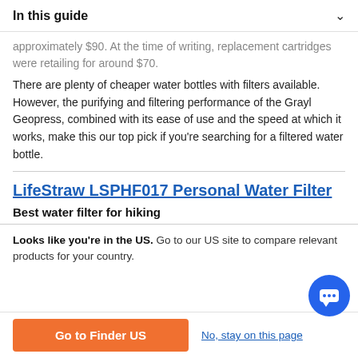In this guide
approximately $90. As of the time of writing, replacement cartridges were retailing for around $70.
There are plenty of cheaper water bottles with filters available. However, the purifying and filtering performance of the Grayl Geopress, combined with its ease of use and the speed at which it works, make this our top pick if you're searching for a filtered water bottle.
LifeStraw LSPHF017 Personal Water Filter
Best water filter for hiking
Looks like you're in the US. Go to our US site to compare relevant products for your country.
Go to Finder US
No, stay on this page